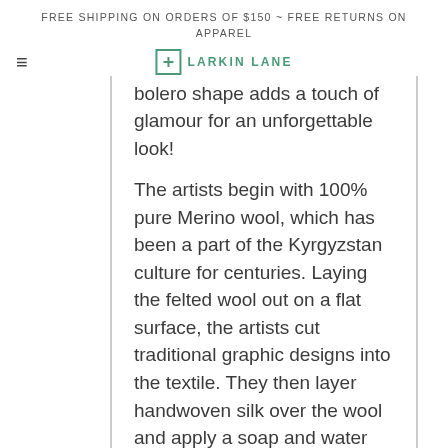FREE SHIPPING ON ORDERS OF $150 ~ FREE RETURNS ON APPAREL
[Figure (logo): Larkin Lane logo with green plus sign in a square box and text LARKIN LANE]
bolero shape adds a touch of glamour for an unforgettable look!
The artists begin with 100% pure Merino wool, which has been a part of the Kyrgyzstan culture for centuries. Laying the felted wool out on a flat surface, the artists cut traditional graphic designs into the textile. They then layer handwoven silk over the wool and apply a soap and water solution, fusing the two materials together. With this last step, the artists say "love happens between the two materials".